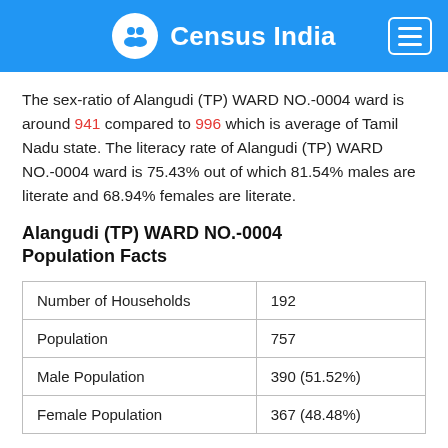Census India
The sex-ratio of Alangudi (TP) WARD NO.-0004 ward is around 941 compared to 996 which is average of Tamil Nadu state. The literacy rate of Alangudi (TP) WARD NO.-0004 ward is 75.43% out of which 81.54% males are literate and 68.94% females are literate.
Alangudi (TP) WARD NO.-0004 Population Facts
| Number of Households | 192 |
| Population | 757 |
| Male Population | 390 (51.52%) |
| Female Population | 367 (48.48%) |